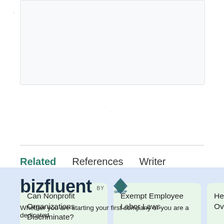[Figure (screenshot): Light gray content box at top of page]
Related	References	Writer
Can Nonprofit Organizations Discriminate?
Exempt Employee Labor Laws
He... Ov...
[Figure (logo): bizfluent by leaf group logo on light blue background]
Whether you are starting your first company or you are a dedicated